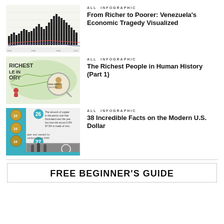[Figure (infographic): Bar chart showing Venezuela economic data over time]
From Richer to Poorer: Venezuela's Economic Tragedy Visualized
ALL  INFOGRAPHIC
[Figure (infographic): Map infographic showing richest people in human history]
The Richest People in Human History (Part 1)
ALL  INFOGRAPHIC
[Figure (infographic): Infographic about 38 incredible facts on the modern U.S. Dollar]
38 Incredible Facts on the Modern U.S. Dollar
ALL  INFOGRAPHIC
FREE BEGINNER'S GUIDE